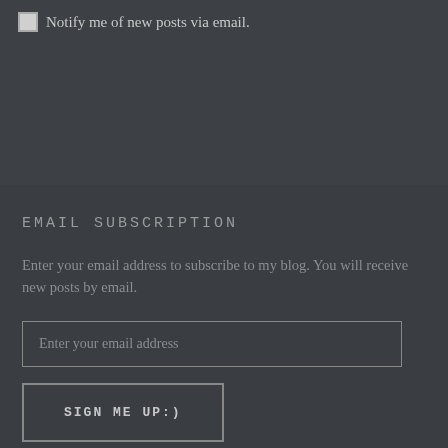Notify me of new posts via email.
EMAIL SUBSCRIPTION
Enter your email address to subscribe to my blog. You will receive new posts by email.
Enter your email address
SIGN ME UP:)
Join 851 other followers